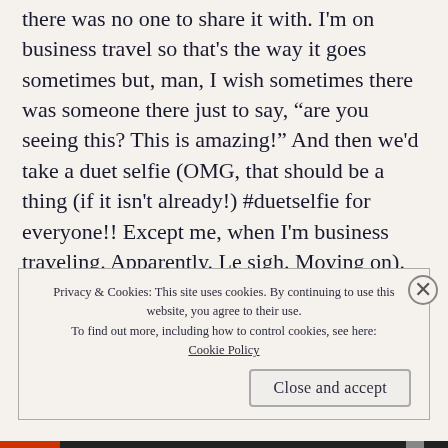there was no one to share it with. I'm on business travel so that's the way it goes sometimes but, man, I wish sometimes there was someone there just to say, “are you seeing this? This is amazing!” And then we'd take a duet selfie (OMG, that should be a thing (if it isn't already!) #duetselfie for everyone!! Except me, when I'm business traveling. Apparently. Le sigh. Moving on).
Privacy & Cookies: This site uses cookies. By continuing to use this website, you agree to their use. To find out more, including how to control cookies, see here: Cookie Policy